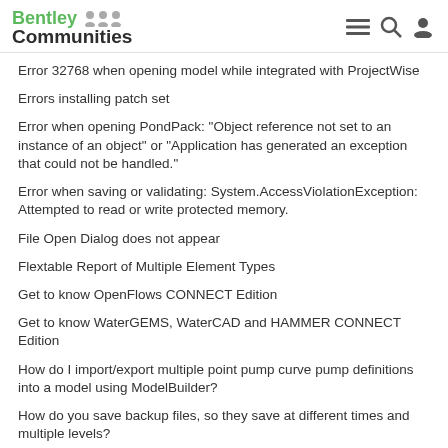Bentley Communities
Error 32768 when opening model while integrated with ProjectWise
Errors installing patch set
Error when opening PondPack: "Object reference not set to an instance of an object" or "Application has generated an exception that could not be handled."
Error when saving or validating: System.AccessViolationException: Attempted to read or write protected memory.
File Open Dialog does not appear
Flextable Report of Multiple Element Types
Get to know OpenFlows CONNECT Edition
Get to know WaterGEMS, WaterCAD and HAMMER CONNECT Edition
How do I import/export multiple point pump curve pump definitions into a model using ModelBuilder?
How do you save backup files, so they save at different times and multiple levels?
How does the intermediate geodatabase (.MDB or .GDB) file function with ArcMap and ArcGIS Pro integration?
How to Delete Engineering Libraries if you get a message about a Read-only database